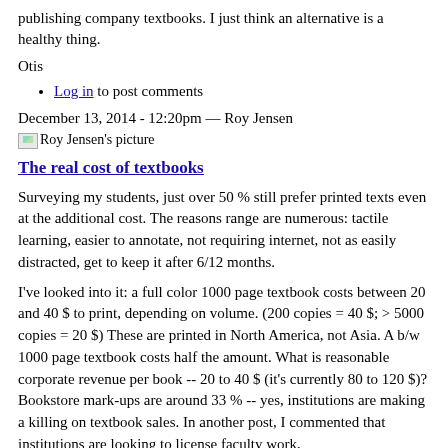publishing company textbooks. I just think an alternative is a healthy thing.
Otis
Log in to post comments
December 13, 2014 - 12:20pm — Roy Jensen
[Figure (photo): Roy Jensen's picture — broken image icon]
The real cost of textbooks
Surveying my students, just over 50 % still prefer printed texts even at the additional cost. The reasons range are numerous: tactile learning, easier to annotate, not requiring internet, not as easily distracted, get to keep it after 6/12 months.
I've looked into it: a full color 1000 page textbook costs between 20 and 40 $ to print, depending on volume. (200 copies = 40 $; > 5000 copies = 20 $) These are printed in North America, not Asia. A b/w 1000 page textbook costs half the amount. What is reasonable corporate revenue per book -- 20 to 40 $ (it's currently 80 to 120 $)? Bookstore mark-ups are around 33 % -- yes, institutions are making a killing on textbook sales. In another post, I commented that institutions are looking to license faculty work,